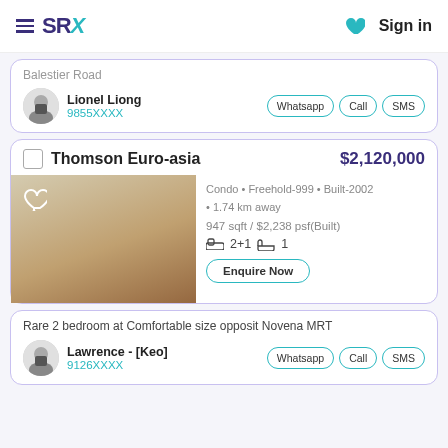SRX | Sign in
Balestier Road
Lionel Liong
9855XXXX
Thomson Euro-asia
$2,120,000
[Figure (photo): Interior photo of Thomson Euro-asia condo unit showing ceiling and warm-toned wall]
Condo • Freehold-999 • Built-2002 • 1.74 km away
947 sqft / $2,238 psf(Built)
2+1  1
Enquire Now
Rare 2 bedroom at Comfortable size opposit Novena MRT
Lawrence - [Keo]
9126XXXX